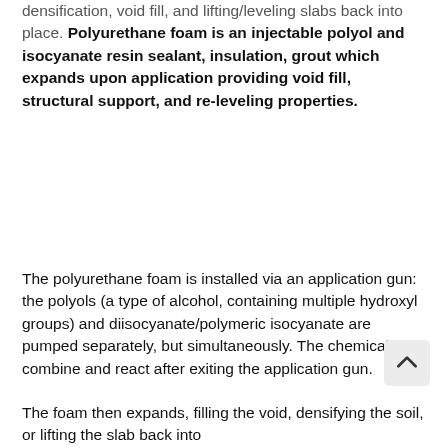densification, void fill, and lifting/leveling slabs back into place. Polyurethane foam is an injectable polyol and isocyanate resin sealant, insulation, grout which expands upon application providing void fill, structural support, and re-leveling properties.
The polyurethane foam is installed via an application gun: the polyols (a type of alcohol, containing multiple hydroxyl groups) and diisocyanate/polymeric isocyanate are pumped separately, but simultaneously. The chemicals combine and react after exiting the application gun.
The foam then expands, filling the void, densifying the soil, or lifting the slab back into